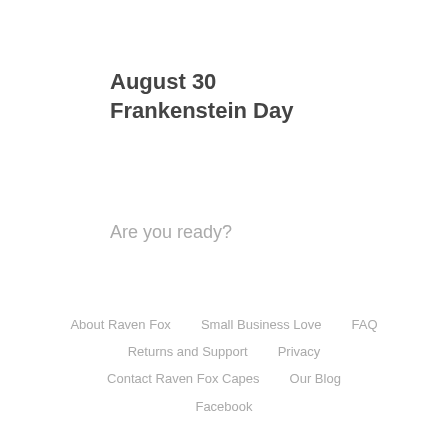August 30
Frankenstein Day
Are you ready?
About Raven Fox    Small Business Love    FAQ
Returns and Support    Privacy
Contact Raven Fox Capes    Our Blog
Facebook